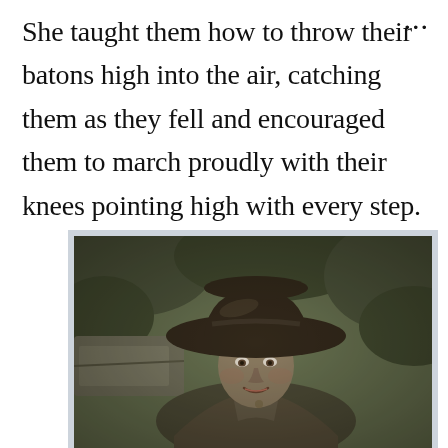She taught them how to throw their batons high into the air, catching them as they fell and encouraged them to march proudly with their knees pointing high with every step.
[Figure (photo): Black and white / sepia-toned vintage photograph of a smiling woman wearing a wide-brimmed hat, seated near what appears to be a car or vehicle, with trees in the background.]